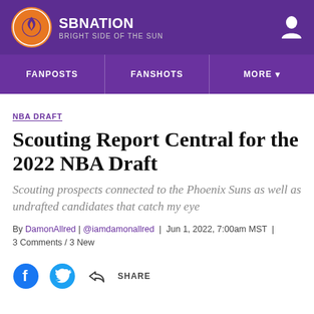SBNation — Bright Side of the Sun
NBA DRAFT
Scouting Report Central for the 2022 NBA Draft
Scouting prospects connected to the Phoenix Suns as well as undrafted candidates that catch my eye
By DamonAllred | @iamdamonallred | Jun 1, 2022, 7:00am MST | 3 Comments / 3 New